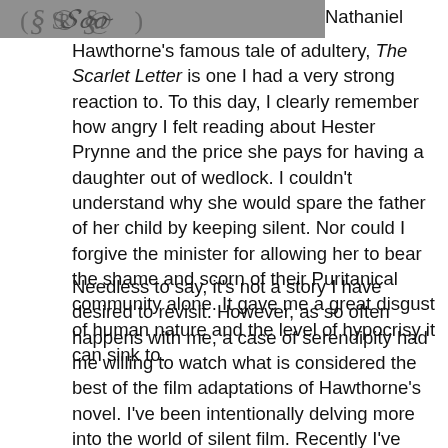[Figure (illustration): Decorative header image strip with ornamental/cursive design elements in gray tones]
Nathaniel Hawthorne's famous tale of adultery, The Scarlet Letter is one I had a very strong reaction to. To this day, I clearly remember how angry I felt reading about Hester Prynne and the price she pays for having a daughter out of wedlock. I couldn't understand why she would spare the father of her child by keeping silent. Nor could I forgive the minister for allowing her to bear the shame and scorn of their Puritanical community alone. It gave me a great disgust of human nature and the level of hypocrisy it can sink to.
Needless to say, it's not a story I have desired to revisit. However, as so often happens with me, a case of serendipity had me willing to watch what is considered the best of the film adaptations of Hawthorne's novel. I've been intentionally delving more into the world of silent film. Recently I've read a handful of biographies of